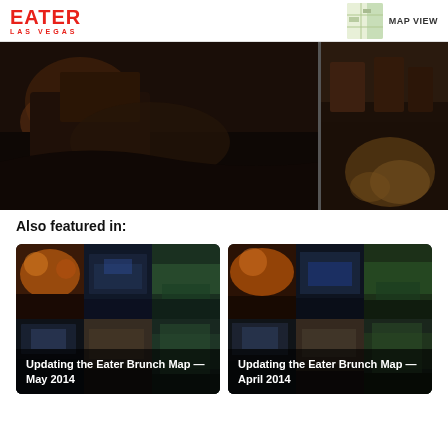EATER LAS VEGAS | MAP VIEW
[Figure (photo): Dark restaurant interior with leather seating and warm ambient lighting, split view]
Also featured in:
[Figure (photo): Collage of restaurant images with overlay text: Updating the Eater Brunch Map — May 2014]
[Figure (photo): Collage of restaurant images with overlay text: Updating the Eater Brunch Map — April 2014]